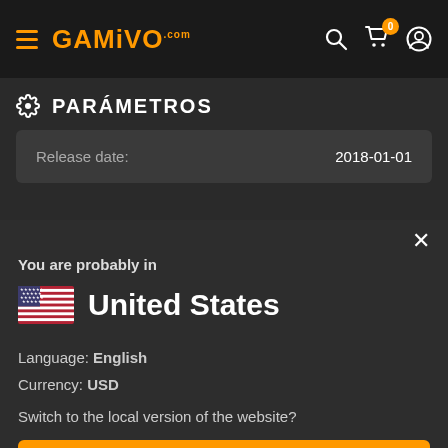[Figure (screenshot): GAMIVO.com navigation bar with hamburger menu, orange logo, search icon, cart with badge 0, and user icon]
PARÁMETROS
| Release date: | 2018-01-01 |
| --- | --- |
You are probably in
United States
Language: English
Currency: USD
Switch to the local version of the website?
YES